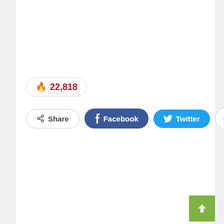[Figure (screenshot): Hot/fire count badge showing 22,818 with a red flame icon, styled with a rounded pill border]
[Figure (screenshot): Social sharing button row with Share, Facebook, Twitter, and plus buttons]